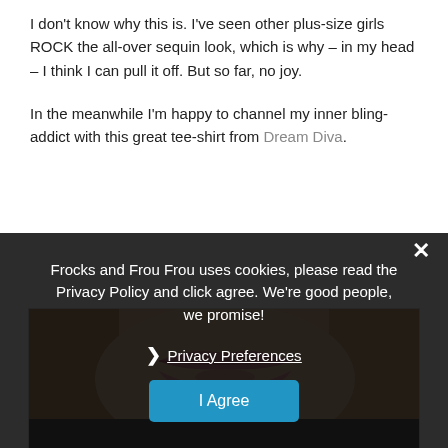I don't know why this is. I've seen other plus-size girls ROCK the all-over sequin look, which is why – in my head – I think I can pull it off. But so far, no joy.
In the meanwhile I'm happy to channel my inner bling-addict with this great tee-shirt from Dream Diva.
[Figure (photo): Close-up photo of a woman's lips and lower face, with blonde/brown hair visible on the sides. She is wearing a dark top.]
Frocks and Frou Frou uses cookies, please read the Privacy Policy and click agree. We're good people, we promise!
❯ Privacy Preferences
I Agree